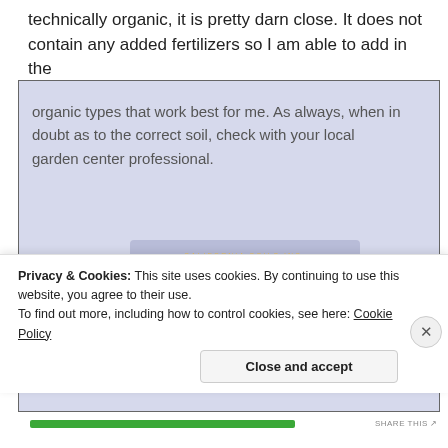technically organic, it is pretty darn close. It does not contain any added fertilizers so I am able to add in the organic types that work best for me. As always, when in doubt as to the correct soil, check with your local garden center professional.
[Figure (logo): Happy Hippie Garden Mix logo by California Soils Inc., showing colorful retro-style lettering on a purple/blue background]
I
agree
Privacy & Cookies: This site uses cookies. By continuing to use this website, you agree to their use.
To find out more, including how to control cookies, see here: Cookie Policy
Close and accept